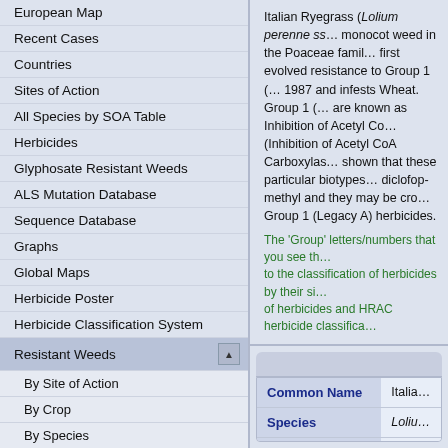European Map
Recent Cases
Countries
Sites of Action
All Species by SOA Table
Herbicides
Glyphosate Resistant Weeds
ALS Mutation Database
Sequence Database
Graphs
Global Maps
Herbicide Poster
Herbicide Classification System
Resistant Weeds
By Site of Action
By Crop
By Species
By Country
By Individual Herbicide
Membership
Italian Ryegrass (Lolium perenne ss... monocot weed in the Poaceae family... first evolved resistance to Group 1 (... 1987 and infests Wheat. Group 1 (... are known as Inhibition of Acetyl Co... (Inhibition of Acetyl CoA Carboxylase... shown that these particular biotypes... diclofop-methyl and they may be cro... Group 1 (Legacy A) herbicides.
The 'Group' letters/numbers that you see th... to the classification of herbicides by their si... of herbicides and HRAC herbicide classifica...
| Common Name | Italia... |
| --- | --- |
| Species | Loliu... |
| Group | Inhib... |
| Herbicides | diclo... |
| Location | Unite... |